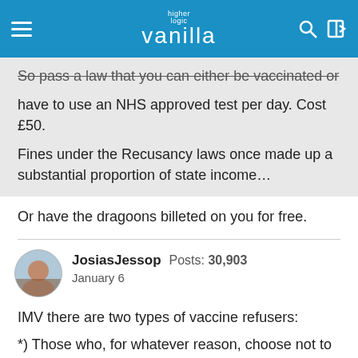higher logic vanilla
So pass a law that you can either be vaccinated or have to use an NHS approved test per day. Cost £50.

Fines under the Recusancy laws once made up a substantial proportion of state income…
Or have the dragoons billeted on you for free.
JosiasJessop  Posts: 30,903
January 6
IMV there are two types of vaccine refusers:
*) Those who, for whatever reason, choose not to get vaccinated but don't spread antivax propaganda.
*) Those who actively are unvaccinated and gleefully…